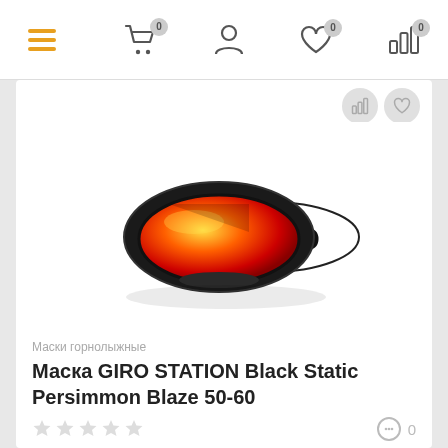Navigation bar with menu, cart (0), account, wishlist (0), analytics (0) icons
[Figure (photo): Giro ski goggle with black frame and orange/red mirrored lens with 'GIRO' text on white strap, product photo on white background]
Маски горнолыжные
Маска GIRO STATION Black Static Persimmon Blaze 50-60
★★★★★  0 comments